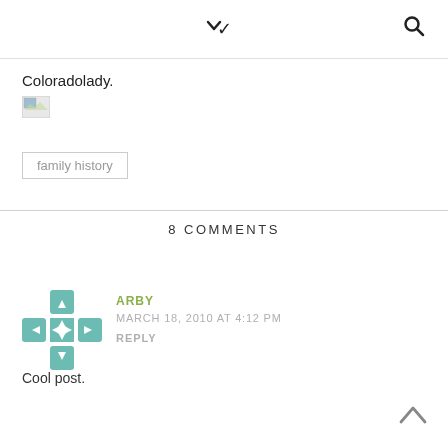chevron down icon, search icon
Coloradolady.
[Figure (other): Broken/placeholder image thumbnail]
family history
8 COMMENTS
[Figure (illustration): Teal geometric quilt-pattern avatar icon]
ARBY
MARCH 18, 2010 AT 4:12 PM
REPLY
Cool post.